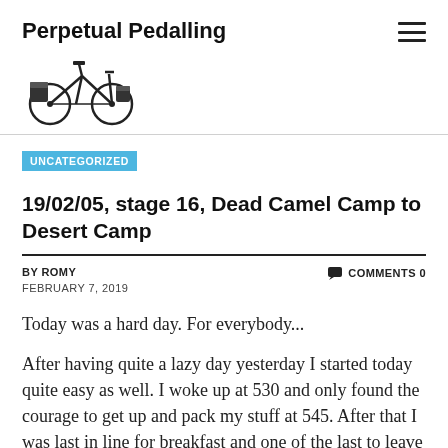Perpetual Pedalling
[Figure (logo): Bicycle with pannier bags logo for Perpetual Pedalling blog]
UNCATEGORIZED
19/02/05, stage 16, Dead Camel Camp to Desert Camp
BY ROMY   COMMENTS 0
FEBRUARY 7, 2019
Today was a hard day. For everybody...
After having quite a lazy day yesterday I started today quite easy as well. I woke up at 530 and only found the courage to get up and pack my stuff at 545. After that I was last in line for breakfast and one of the last to leave camp.